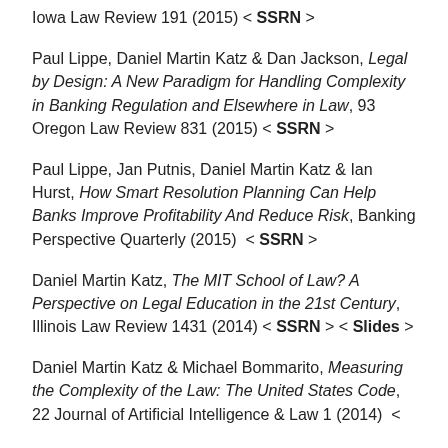Iowa Law Review 191 (2015) < SSRN >
Paul Lippe, Daniel Martin Katz & Dan Jackson, Legal by Design: A New Paradigm for Handling Complexity in Banking Regulation and Elsewhere in Law, 93 Oregon Law Review 831 (2015) < SSRN >
Paul Lippe, Jan Putnis, Daniel Martin Katz & Ian Hurst, How Smart Resolution Planning Can Help Banks Improve Profitability And Reduce Risk, Banking Perspective Quarterly (2015) < SSRN >
Daniel Martin Katz, The MIT School of Law? A Perspective on Legal Education in the 21st Century, Illinois Law Review 1431 (2014) < SSRN > < Slides >
Daniel Martin Katz & Michael Bommarito, Measuring the Complexity of the Law: The United States Code, 22 Journal of Artificial Intelligence & Law 1 (2014) <